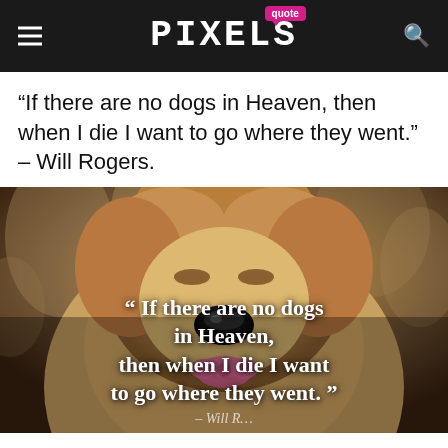quote PIXELS
“If there are no dogs in Heaven, then when I die I want to go where they went.” – Will Rogers.
[Figure (photo): A golden retriever dog close-up photo with blurred background, overlaid with bold white serif text reading: “ If there are no dogs in Heaven, then when I die I want to go where they went. ” and partially visible author attribution ‘Will Rogers’ at the bottom.]